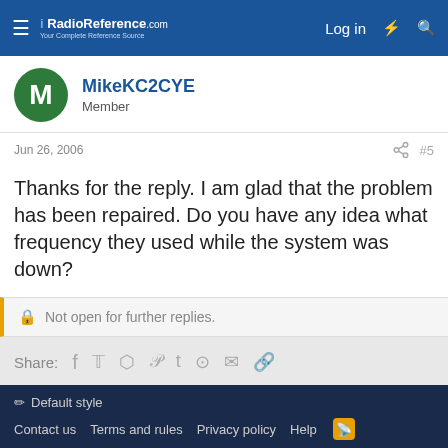RadioReference.com – Your Complete Reference Source | Log in
MikeKC2CYE
Member
Jun 26, 2006 #5
Thanks for the reply. I am glad that the problem has been repaired. Do you have any idea what frequency they used while the system was down?
Not open for further replies.
Share:
Rhode Island Radio Discussion Forum
Default style | Contact us | Terms and rules | Privacy policy | Help